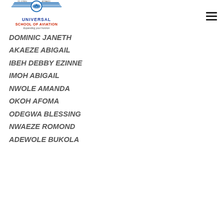Universal School of Aviation
DOMINIC JANETH
AKAEZE ABIGAIL
IBEH DEBBY EZINNE
IMOH ABIGAIL
NWOLE AMANDA
OKOH AFOMA
ODEGWA BLESSING
NWAEZE ROMOND
ADEWOLE BUKOLA